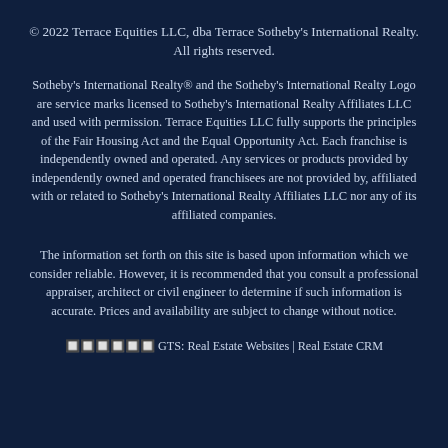© 2022 Terrace Equities LLC, dba Terrace Sotheby's International Realty. All rights reserved.
Sotheby's International Realty® and the Sotheby's International Realty Logo are service marks licensed to Sotheby's International Realty Affiliates LLC and used with permission. Terrace Equities LLC fully supports the principles of the Fair Housing Act and the Equal Opportunity Act. Each franchise is independently owned and operated. Any services or products provided by independently owned and operated franchisees are not provided by, affiliated with or related to Sotheby's International Realty Affiliates LLC nor any of its affiliated companies.
The information set forth on this site is based upon information which we consider reliable. However, it is recommended that you consult a professional appraiser, architect or civil engineer to determine if such information is accurate. Prices and availability are subject to change without notice.
🔲🔲🔲🔲🔲🔲 GTS: Real Estate Websites | Real Estate CRM